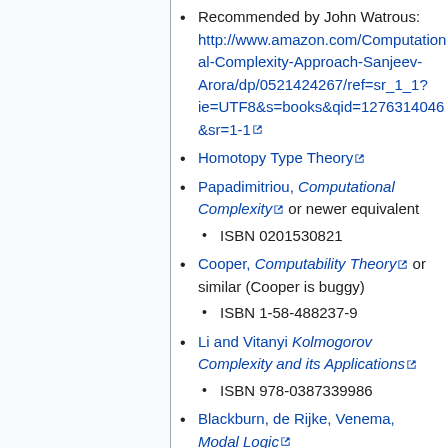Recommended by John Watrous: http://www.amazon.com/Computational-Complexity-Approach-Sanjeev-Arora/dp/0521424267/ref=sr_1_1?ie=UTF8&s=books&qid=1276314046&sr=1-1
Homotopy Type Theory
Papadimitriou, Computational Complexity or newer equivalent
ISBN 0201530821
Cooper, Computability Theory or similar (Cooper is buggy)
ISBN 1-58-488237-9
Li and Vitanyi Kolmogorov Complexity and its Applications
ISBN 978-0387339986
Blackburn, de Rijke, Venema, Modal Logic
ISBN 978-0521802000